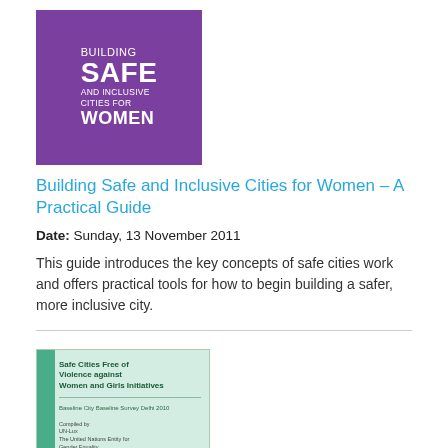[Figure (photo): Book cover: Building Safe and Inclusive Cities for Women, purple background with white bold text]
Building Safe and Inclusive Cities for Women – A Practical Guide
Date: Sunday, 13 November 2011
This guide introduces the key concepts of safe cities work and offers practical tools for how to begin building a safer, more inclusive city.
[Figure (photo): Book cover: Safe Cities Free of Violence against Women and Girls Initiatives – Baseline Survey, light green/teal cover]
Baseline Survey – Safety of Women and Girls in Delhi
Date: Wednesday, 17 March 2010
The baseline survey analyzes information about the forms of violence and harassment faced by women in India's capital New